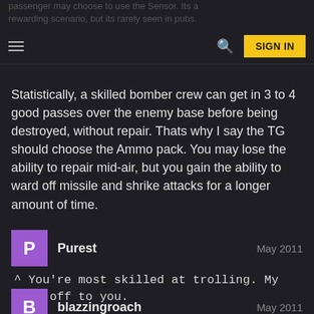passenger may choose to use the Sensor. Its a rewarding scenario, but its rarely seen in pubs.
Statistically, a skilled bomber crew can get in 3 to 4 good passes over the enemy base before being destroyed, without repair. Thats why I say the TG should choose the Ammo pack. You may lose the ability to repair mid-air, but you gain the ability to ward off missile and shrike attacks for a longer amount of time.
Purest — May 2011
^ You're most skilled at trolling. My hats off to you.
blazzingroach — May 2011